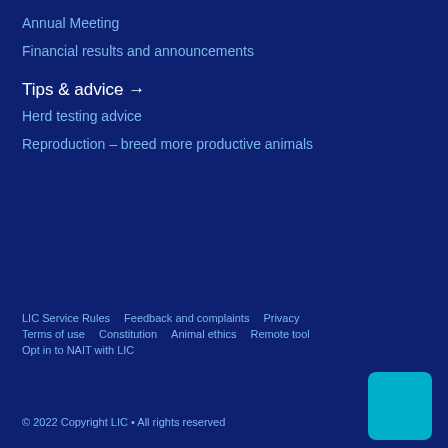Annual Meeting
Financial results and announcements
Tips & advice →
Herd testing advice
Reproduction – breed more productive animals
LIC Service Rules   Feedback and complaints   Privacy   Terms of use   Constitution   Animal ethics   Remote tool   Opt in to NAIT with LIC
© 2022 Copyright LIC • All rights reserved